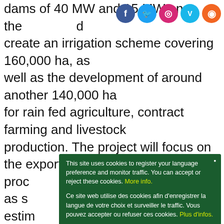dams of 40 MW and 15 MW on the [River], create an irrigation scheme covering 160,000 ha, as well as the development of around another 140,000 ha for rain fed agriculture, contract farming and livestock production. The project will focus on the export proc[uction] as s[ugar,] estim[ated at] the a[...] ProS[...] hidd[en] citin[g] Agri[...] it wi[ll] requ[ire...]  The [...] project and
[Figure (infographic): Social media icons: Facebook (blue circle), Twitter (light blue circle), Instagram (gradient circle), Vimeo (blue circle), RSS (orange circle)]
This site uses cookies to register your language preference and monitor traffic. You can accept or reject these cookies. More info.

Ce site web utilise des cookies afin d'enregistrer la langue de votre choix et surveiller le traffic. Vous pouvez accepter ou refuser ces cookies. Plus d'infos.

Este sitio web utiliza cookies con el objetivo de registrar su idioma preferido y controlar el tráfico. Puede aceptar o rechazar estas cookies. Mayor información.

Ok